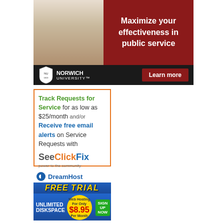[Figure (illustration): Norwich University advertisement banner. Left: photo of smiling professional man in white shirt. Right: dark crimson background with white text 'Maximize your effectiveness in public service'. Bottom bar: black with Norwich University shield logo and 'Learn more' crimson button.]
[Figure (illustration): SeeClickFix advertisement. Orange border. Text: 'Track Requests for Service for as low as $25/month and/or Receive free email alerts on Service Requests with SeeClickFix - power to the community']
[Figure (illustration): DreamHost advertisement. Blue background. DreamHost logo. 'FREE TRIAL' in yellow. 'UNLIMITED DISKSPACE' text. Starburst with 'Web Hosting For Only $8.95 Per Month'. Green 'SIGN UP NOW' button.]
[Figure (illustration): Partially visible advertisement at bottom of page (cropped).]